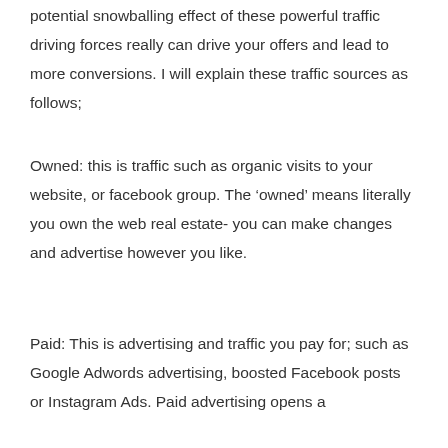potential snowballing effect of these powerful traffic driving forces really can drive your offers and lead to more conversions. I will explain these traffic sources as follows;
Owned: this is traffic such as organic visits to your website, or facebook group. The ‘owned’ means literally you own the web real estate- you can make changes and advertise however you like.
Paid: This is advertising and traffic you pay for; such as Google Adwords advertising, boosted Facebook posts or Instagram Ads. Paid advertising opens a